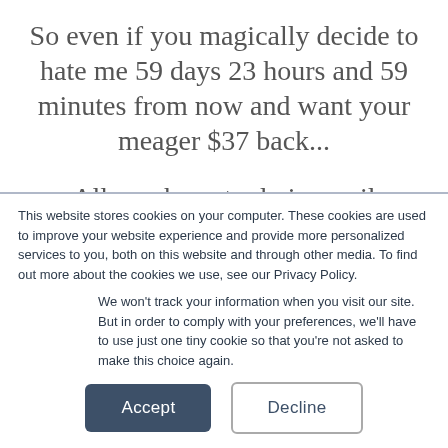So even if you magically decide to hate me 59 days 23 hours and 59 minutes from now and want your meager $37 back...
All you have to do is email support@agencylab.com and we'll happily put the money back in your account.
This website stores cookies on your computer. These cookies are used to improve your website experience and provide more personalized services to you, both on this website and through other media. To find out more about the cookies we use, see our Privacy Policy.
We won't track your information when you visit our site. But in order to comply with your preferences, we'll have to use just one tiny cookie so that you're not asked to make this choice again.